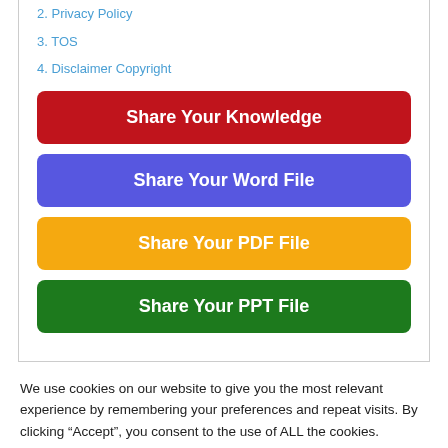2. Privacy Policy
3. TOS
4. Disclaimer Copyright
Share Your Knowledge
Share Your Word File
Share Your PDF File
Share Your PPT File
We use cookies on our website to give you the most relevant experience by remembering your preferences and repeat visits. By clicking “Accept”, you consent to the use of ALL the cookies.
Do not sell my personal information.
Cookie Settings
Accept